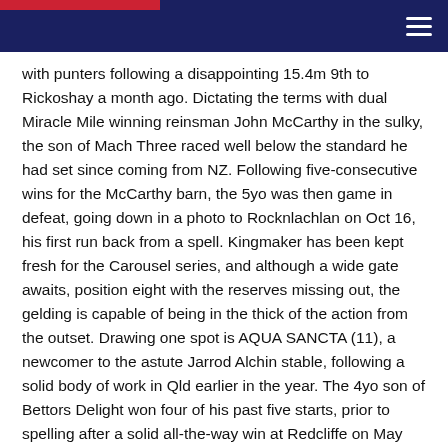with punters following a disappointing 15.4m 9th to Rickoshay a month ago. Dictating the terms with dual Miracle Mile winning reinsman John McCarthy in the sulky, the son of Mach Three raced well below the standard he had set since coming from NZ. Following five-consecutive wins for the McCarthy barn, the 5yo was then game in defeat, going down in a photo to Rocknlachlan on Oct 16, his first run back from a spell. Kingmaker has been kept fresh for the Carousel series, and although a wide gate awaits, position eight with the reserves missing out, the gelding is capable of being in the thick of the action from the outset. Drawing one spot is AQUA SANCTA (11), a newcomer to the astute Jarrod Alchin stable, following a solid body of work in Qld earlier in the year. The 4yo son of Bettors Delight won four of his past five starts, prior to spelling after a solid all-the-way win at Redcliffe on May 26. Aqua Sancta, who will be driven by Cam Hart, wasn't extended in a trial won by Ilikemebettor, with a comfortable 7.6, 6th coming his way. The newcomer to the local scene is definitely one to watch. The outside gate will be occupied by the consistent VIVA LAS VEGAS (12), with the Amanda Turnbull